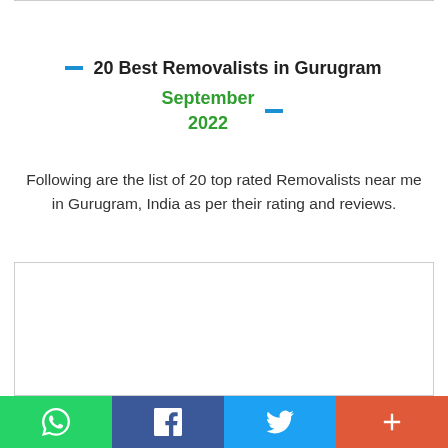20 Best Removalists in Gurugram September 2022
Following are the list of 20 top rated Removalists near me in Gurugram, India as per their rating and reviews.
[Figure (other): Advertisement / content box placeholder with border]
Social share bar: WhatsApp, Facebook, Twitter, Plus